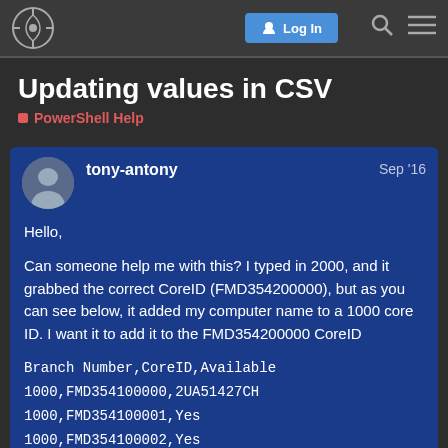Log In | Search | Menu
Updating values in CSV
PowerShell Help
tony-antony   Sep '16

Hello,

Can someone help me with this? I typed in 2000, and it grabbed the correct CoreID (FMD354200000), but as you can see below, it added my computer name to a 1000 core ID. I want it to add it to the FMD354200000 CoreID

Branch Number,CoreID,Available
1000,FMD354100000,2UA51427CH
1000,FMD354100001,Yes
1000,FMD354100002,Yes
1000,FMD354100003,Yes
1 / 11